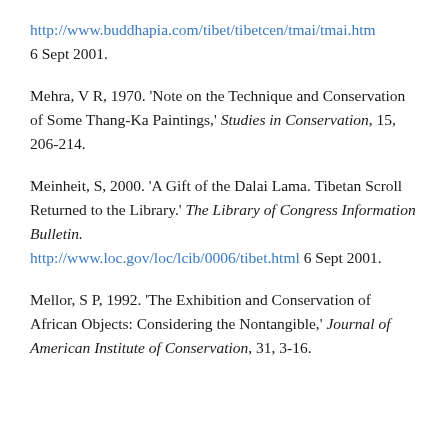http://www.buddhapia.com/tibet/tibetcen/tmai/tmai.htm 6 Sept 2001.
Mehra, V R, 1970. 'Note on the Technique and Conservation of Some Thang-Ka Paintings,' Studies in Conservation, 15, 206–214.
Meinheit, S, 2000. 'A Gift of the Dalai Lama. Tibetan Scroll Returned to the Library.' The Library of Congress Information Bulletin. http://www.loc.gov/loc/lcib/0006/tibet.html 6 Sept 2001.
Mellor, S P, 1992. 'The Exhibition and Conservation of African Objects: Considering the Nontangible,' Journal of American Institute of Conservation, 31, 3–16.